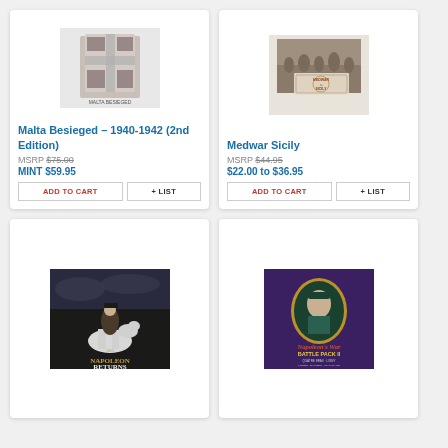[Figure (photo): Malta Besieged board game box product photo]
Malta Besieged – 1940-1942 (2nd Edition)
MSRP $75.00
MINT $59.95
[Figure (photo): Medwar Sicily board game product photo]
Medwar Sicily
MSRP $44.95
$22.00 to $36.95
[Figure (photo): Napoleon Returns board game cover art showing Napoleon on horseback]
[Figure (photo): Napoleon's War Battle Pack II board game cover with Napoleon portrait medallion]